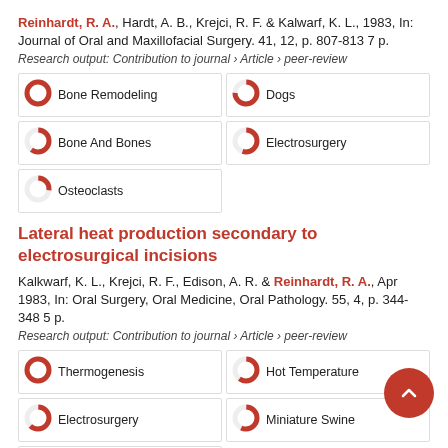Reinhardt, R. A., Hardt, A. B., Krejci, R. F. & Kalwarf, K. L., 1983, In: Journal of Oral and Maxillofacial Surgery. 41, 12, p. 807-813 7 p.
Research output: Contribution to journal › Article › peer-review
Bone Remodeling 100%
Dogs 75%
Bone And Bones 60%
Electrosurgery 55%
Osteoclasts 27%
Lateral heat production secondary to electrosurgical incisions
Kalkwarf, K. L., Krejci, R. F., Edison, A. R. & Reinhardt, R. A., Apr 1983, In: Oral Surgery, Oral Medicine, Oral Pathology. 55, 4, p. 344-348 5 p.
Research output: Contribution to journal › Article › peer-review
Thermogenesis 100%
Hot Temperature 60%
Electrosurgery 62%
Miniature Swine 57%
Connective Tissue